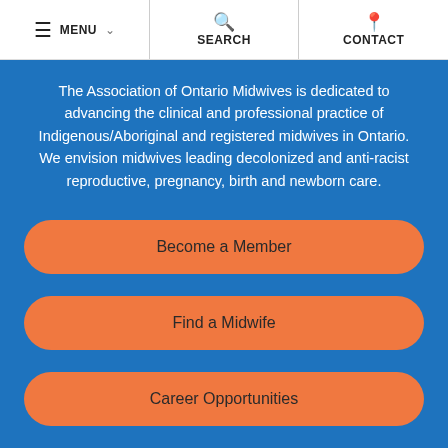≡ MENU    🔍 SEARCH    📍 CONTACT
The Association of Ontario Midwives is dedicated to advancing the clinical and professional practice of Indigenous/Aboriginal and registered midwives in Ontario. We envision midwives leading decolonized and anti-racist reproductive, pregnancy, birth and newborn care.
Become a Member
Find a Midwife
Career Opportunities